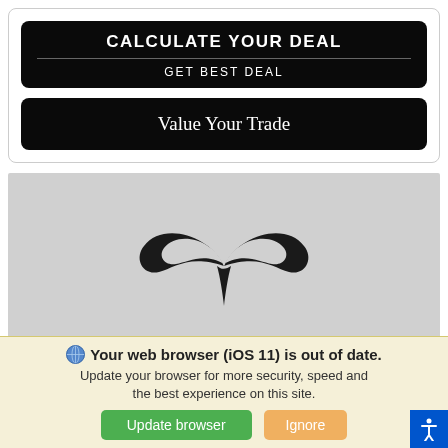[Figure (screenshot): Black button with text CALCULATE YOUR DEAL (bold, uppercase) and GET BEST DEAL below a divider line]
[Figure (screenshot): Black button with text Value Your Trade]
[Figure (logo): Infiniti car brand logo on grey background]
Your web browser (iOS 11) is out of date. Update your browser for more security, speed and the best experience on this site.
Update browser
Ignore